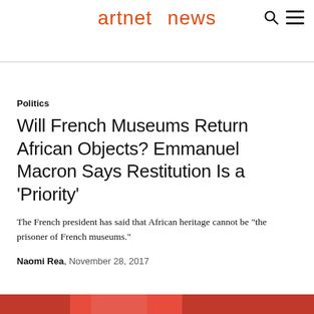artnet news
Politics
Will French Museums Return African Objects? Emmanuel Macron Says Restitution Is a ‘Priority’
The French president has said that African heritage cannot be "the prisoner of French museums."
Naomi Rea, November 28, 2017
[Figure (photo): Partial view of a colorful photo at the bottom edge of the page]